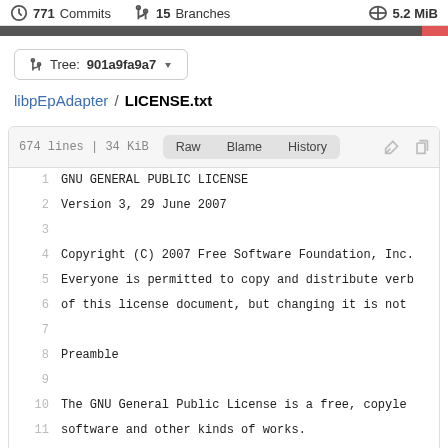771 Commits  15 Branches  5.2 MiB
Tree: 901a9fa9a7
libpEpAdapter / LICENSE.txt
674 lines | 34 KiB  Raw  Blame  History
[Figure (screenshot): Code viewer showing lines 1-12+ of LICENSE.txt with GNU GENERAL PUBLIC LICENSE header]
1     GNU GENERAL PUBLIC LICENSE
2         Version 3, 29 June 2007
3
4   Copyright (C) 2007 Free Software Foundation, Inc.
5   Everyone is permitted to copy and distribute verb
6   of this license document, but changing it is not
7
8             Preamble
9
10   The GNU General Public License is a free, copyle
11  software and other kinds of works.
12